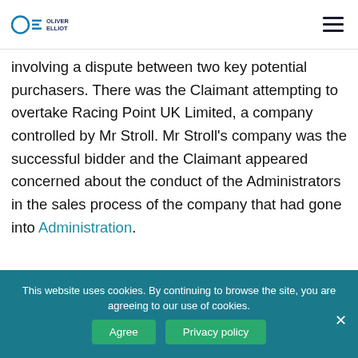Oliver Elliot
involving a dispute between two key potential purchasers. There was the Claimant attempting to overtake Racing Point UK Limited, a company controlled by Mr Stroll. Mr Stroll's company was the successful bidder and the Claimant appeared concerned about the conduct of the Administrators in the sales process of the company that had gone into Administration.
This website uses cookies. By continuing to browse the site, you are agreeing to our use of cookies.